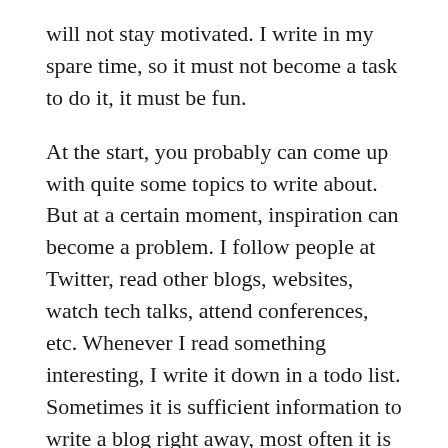will not stay motivated. I write in my spare time, so it must not become a task to do it, it must be fun.
At the start, you probably can come up with quite some topics to write about. But at a certain moment, inspiration can become a problem. I follow people at Twitter, read other blogs, websites, watch tech talks, attend conferences, etc. Whenever I read something interesting, I write it down in a todo list. Sometimes it is sufficient information to write a blog right away, most often it is the starting point for reading more about the topic first before I can write about it. I generally have no problem finding a topic, my todo list contains currently about 40 topics. The list is alive, topics get on the list, sometimes topics get off the list without writing a blog about it.